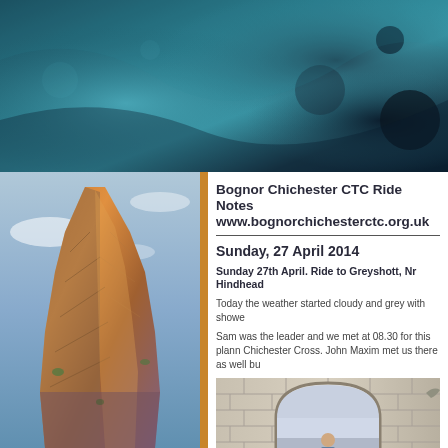[Figure (photo): Dark teal/blue abstract background banner with bokeh and texture effects, spanning full width at top]
[Figure (photo): Tall dramatic rock spire / mountain pinnacle with orange-lit peak against cloudy sky, left column]
Bognor Chichester CTC Ride Notes www.bognorchichesterctc.org.uk
Sunday, 27 April 2014
Sunday 27th April. Ride to Greyshott, Nr Hindhead
Today the weather started cloudy and grey with showe
Sam was the leader and we met at 08.30 for this plann Chichester Cross. John Maxim met us there as well bu
[Figure (photo): Cathedral stone archway with a man standing beneath it, stone masonry and gothic arch details]